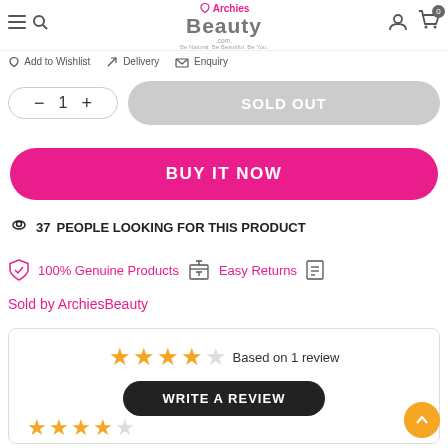Archies Beauty — Be Natural. Be Beautiful. Be You.
Add to Wishlist   Delivery   Enquiry
SOLD OUT (quantity selector: 1)
BUY IT NOW
37 PEOPLE LOOKING FOR THIS PRODUCT
100% Genuine Products   Easy Returns
Sold by ArchiesBeauty
Based on 1 review
WRITE A REVIEW